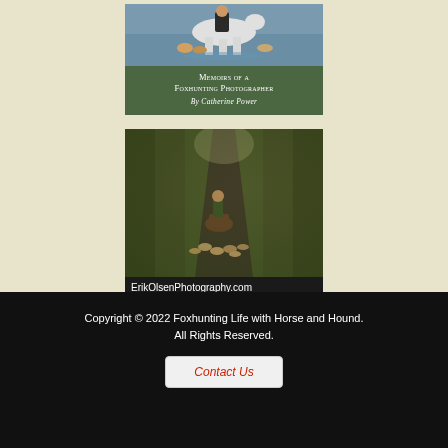[Figure (photo): Book cover for 'Memoirs of a Foxhunting Photographer By Catherine Power' with dark green background and image of horse and hounds crossing water]
[Figure (photo): ErikOlsenPhotography.com advertisement showing a rider on horseback with a pack of hounds on a tree-lined path. Text: 'Fox Hunting, Horse Shows, Photo Sessions, Special Occasions']
Advertise here
Copyright © 2022 Foxhunting Life with Horse and Hound. All Rights Reserved. Contact Us